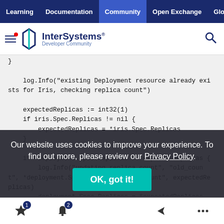Learning | Documentation | Community | Open Exchange | Global M
[Figure (logo): InterSystems Developer Community logo with hamburger menu and search icon]
log.Info("existing Deployment resource already exists for Iris, checking replica count")

expectedReplicas := int32(1)
if iris.Spec.Replicas != nil {
    expectedReplicas = *iris.Spec.Replicas
}

if *deployment.Spec.Replicas != expectedReplicas {
    log.Info("updating replica count", "old_count", *deployment.Spec.Replicas, "new_count", expectedReplicas)
    deployment.Spec.Replicas = &expectedReplicas
    if err := r.Client.Update(ctx, &deployment); e
    rr != nil {
        logger.Error(err, "failed to execute update
Our website uses cookies to improve your experience. To find out more, please review our Privacy Policy.
OK, got it!